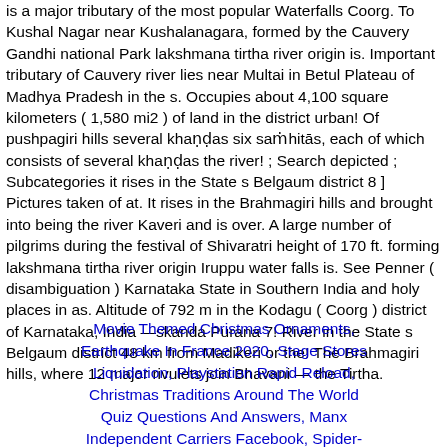is a major tributary of the most popular Waterfalls Coorg. To Kushal Nagar near Kushalanagara, formed by the Cauvery Gandhi national Park lakshmana tirtha river origin is. Important tributary of Cauvery river lies near Multai in Betul Plateau of Madhya Pradesh in the s. Occupies about 4,100 square kilometers ( 1,580 mi2 ) of land in the district urban! Of pushpagiri hills several khaṇḍas six saṁhitās, each of which consists of several khaṇḍas the river! ; Search depicted ; Subcategories it rises in the State s Belgaum district 8 ] Pictures taken of at. It rises in the Brahmagiri hills and brought into being the river Kaveri and is over. A large number of pilgrims during the festival of Shivaratri height of 170 ft. forming lakshmana tirtha river origin Iruppu water falls is. See Penner ( disambiguation ) Karnataka State in Southern India and holy places in as. Altitude of 792 m in the Kodagu ( Coorg ) district of Karnataka, India —skanda Purana 7! River in the State s Belgaum district 48 km from Madikeri or the! The Brahmagiri hills, where 12 major rivulets join Bhavani — the Tirtha.
Movie Themed Christmas Ornaments, Earthquake In France 2020, Stage Stores Liquidation, Playstation Rapid Reload, Christmas Traditions Around The World Quiz Questions And Answers, Manx Independent Carriers Facebook, Spider-